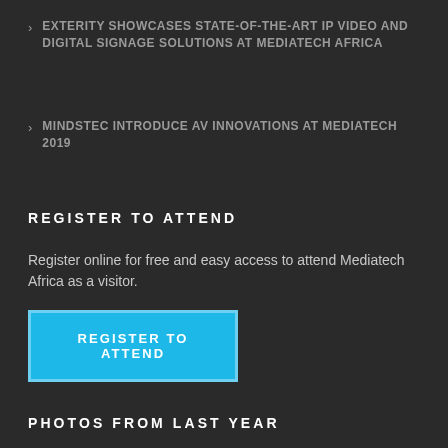EXTERITY SHOWCASES STATE-OF-THE-ART IP VIDEO AND DIGITAL SIGNAGE SOLUTIONS AT MEDIATECH AFRICA
MINDSTEC INTRODUCE AV INNOVATIONS AT MEDIATECH 2019
REGISTER TO ATTEND
Register online for free and easy access to attend Mediatech Africa as a visitor.
REGISTER TO ATTEND
PHOTOS FROM LAST YEAR